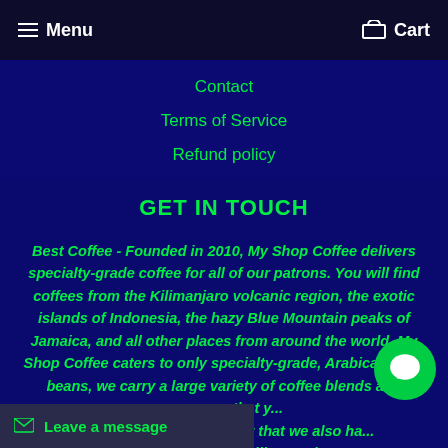Menu   Cart
Contact
Terms of Service
Refund policy
GET IN TOUCH
Best Coffee - Founded in 2010, My Shop Coffee delivers specialty-grade coffee for all of our patrons. You will find coffees from the Kilimanjaro volcanic region, the exotic islands of Indonesia, the hazy Blue Mountain peaks of Jamaica, and all other places from around the world. My Shop Coffee caters to only specialty-grade, Arabica coffee beans, we carry a large variety of coffee blends and espresso that you are sure to enjoy. Don`t forget that we also ha... ea selection that will quench
Leave a message